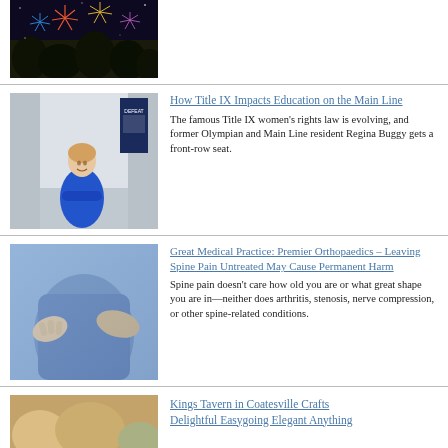[Figure (photo): Fireworks against a dark night sky with trees silhouetted below]
[Figure (photo): Woman in blue sweater standing in a school hallway with arms crossed, smiling]
How Title IX Impacts Education on the Main Line
The famous Title IX women's rights law is evolving, and former Olympian and Main Line resident Regina Buggy gets a front-row seat.
[Figure (photo): Person holding their lower back, suggesting back/spine pain]
Great Medical Practice: Premier Orthopaedics – Leaving Spine Pain Untreated May Cause Permanent Harm
Spine pain doesn't care how old you are or what great shape you are in—neither does arthritis, stenosis, nerve compression, or other spine-related conditions.
[Figure (photo): Food or dining scene related to Kings Tavern in Coatesville]
Kings Tavern in Coatesville Crafts Delightful Easygoing Elegant Anything